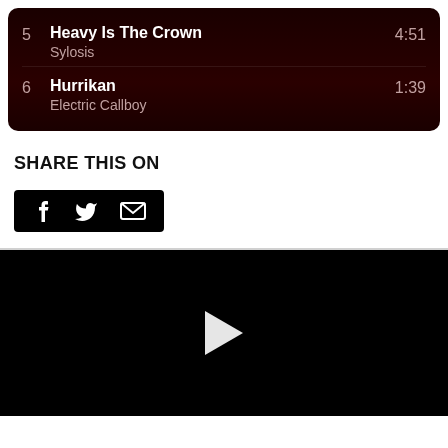5  Heavy Is The Crown  4:51  Sylosis
6  Hurrikan  1:39  Electric Callboy
SHARE THIS ON
[Figure (infographic): Share buttons bar with Facebook (f), Twitter (bird), and email (envelope) icons on a black background]
[Figure (screenshot): Black video player panel with a white play button triangle in the center]